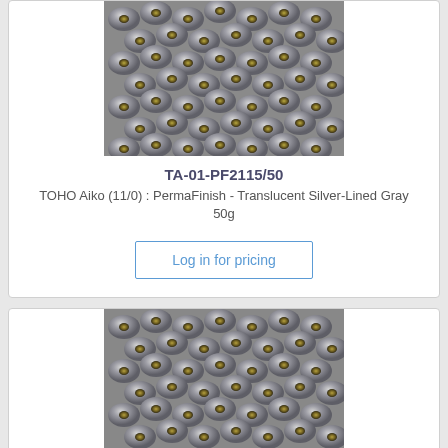[Figure (photo): Close-up photo of silver-lined gray TOHO Aiko seed beads, cylindrical shape, metallic gray with gold-lined holes]
TA-01-PF2115/50
TOHO Aiko (11/0) : PermaFinish - Translucent Silver-Lined Gray 50g
Log in for pricing
[Figure (photo): Close-up photo of silver-lined gray TOHO Aiko seed beads, cylindrical shape, metallic gray with gold-lined holes]
TA-01-PF2115/p